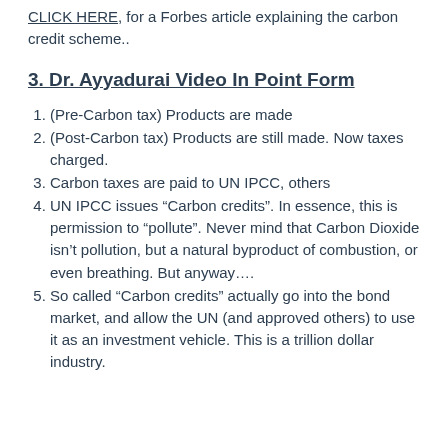CLICK HERE, for a Forbes article explaining the carbon credit scheme..
3. Dr. Ayyadurai Video In Point Form
(Pre-Carbon tax) Products are made
(Post-Carbon tax) Products are still made. Now taxes charged.
Carbon taxes are paid to UN IPCC, others
UN IPCC issues “Carbon credits”. In essence, this is permission to “pollute”. Never mind that Carbon Dioxide isn’t pollution, but a natural byproduct of combustion, or even breathing. But anyway….
So called “Carbon credits” actually go into the bond market, and allow the UN (and approved others) to use it as an investment vehicle. This is a trillion dollar industry.